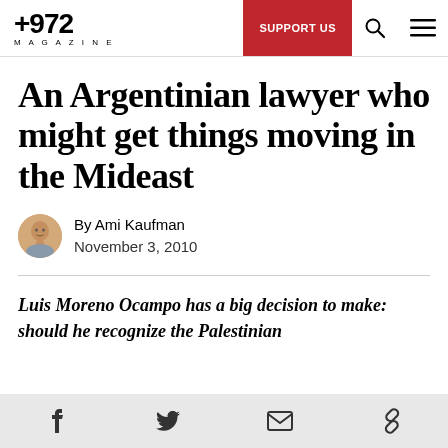+972 MAGAZINE | SUPPORT US
An Argentinian lawyer who might get things moving in the Mideast
By Ami Kaufman
November 3, 2010
Luis Moreno Ocampo has a big decision to make: should he recognize the Palestinian